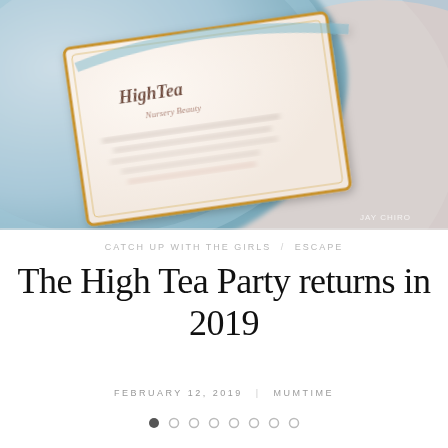[Figure (photo): Close-up photo of a High Tea invitation card with floral blue border, ornate script text reading 'High Tea', placed on what appears to be a decorative plate or surface. Watermark text 'JAY CHIRO' visible in bottom right corner.]
CATCH UP WITH THE GIRLS  /  ESCAPE
The High Tea Party returns in 2019
FEBRUARY 12, 2019  MUMTIME
• ○ ○ ○ ○ ○ ○ ○